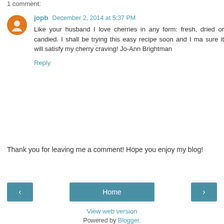1 comment:
jopb December 2, 2014 at 5:37 PM
Like your husband I love cherries in any form: fresh, dried or candied. I shall be trying this easy recipe soon and I ma sure it will satisfy my cherry craving! Jo-Ann Brightman
Reply
Thank you for leaving me a comment! Hope you enjoy my blog!
Home
View web version
Powered by Blogger.